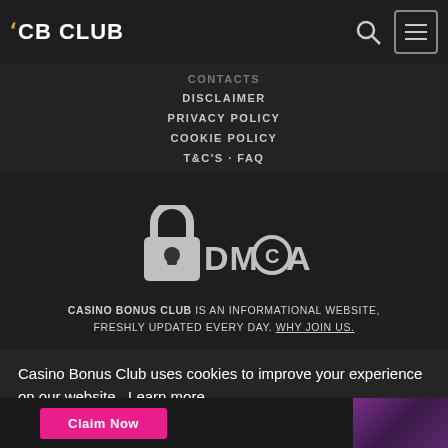CB CLUB
DISCLAIMER
PRIVACY POLICY
COOKIE POLICY
T&C'S · FAQ
[Figure (logo): DMCA protected logo with padlock icon]
CASINO BONUS CLUB IS AN INFORMATIONAL WEBSITE, FRESHLY UPDATED EVERY DAY. WHY JOIN US.
Casino Bonus Club uses cookies to improve your experience on our website. Learn more
Got it!
Claim Now